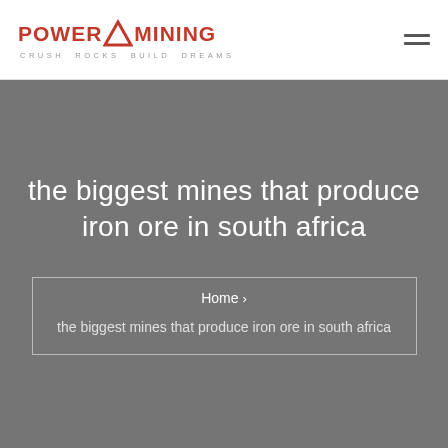[Figure (logo): Power Mining logo with red triangle icon between POWER and MINING text, tagline Crush Rocks Build Dreams below]
the biggest mines that produce iron ore in south africa
Home > the biggest mines that produce iron ore in south africa